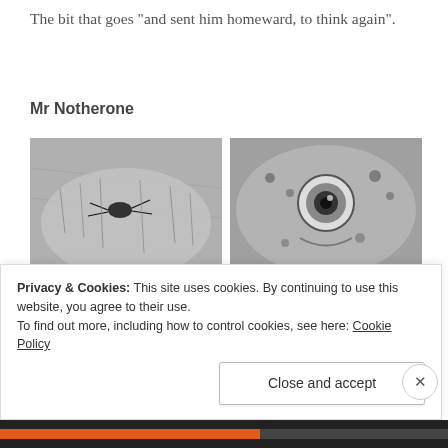The bit that goes "and sent him homeward, to think again".
Mr Notherone
[Figure (photo): Black and white close-up photo of a fishing fly on a hairy surface (hand/skin)]
[Figure (photo): Black and white close-up photo of a fish eye/head]
[Figure (photo): Black and white photo of a spotted trout being held in hand]
[Figure (photo): Black and white close-up photo of a watch and fishing line]
Privacy & Cookies: This site uses cookies. By continuing to use this website, you agree to their use.
To find out more, including how to control cookies, see here: Cookie Policy
Close and accept